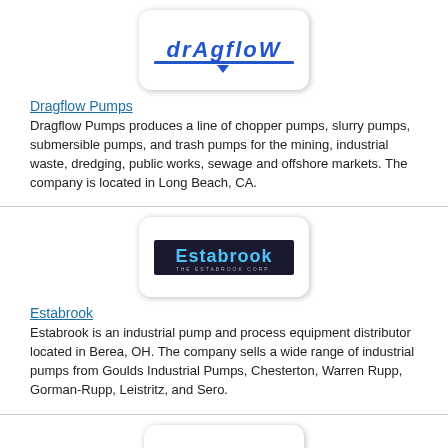[Figure (logo): Dragflow Pumps logo with stylized text in blue]
Dragflow Pumps
Dragflow Pumps produces a line of chopper pumps, slurry pumps, submersible pumps, and trash pumps for the mining, industrial waste, dredging, public works, sewage and offshore markets. The company is located in Long Beach, CA.
[Figure (logo): Estabrook company logo with blue text on dark background]
Estabrook
Estabrook is an industrial pump and process equipment distributor located in Berea, OH. The company sells a wide range of industrial pumps from Goulds Industrial Pumps, Chesterton, Warren Rupp, Gorman-Rupp, Leistritz, and Sero.